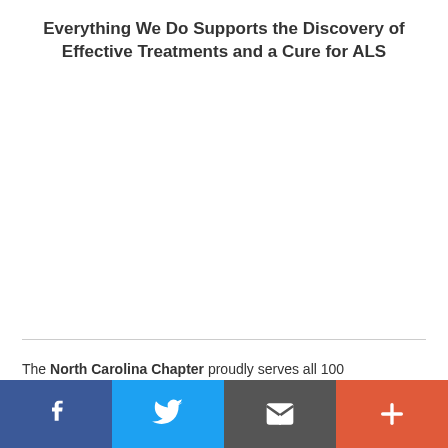Everything We Do Supports the Discovery of Effective Treatments and a Cure for ALS
The North Carolina Chapter proudly serves all 100
Social share bar: Facebook, Twitter, Email, More